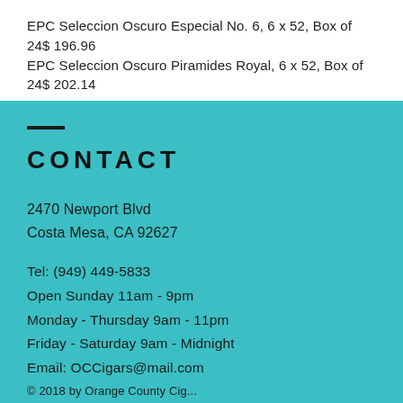EPC Seleccion Oscuro Especial No. 6, 6 x 52, Box of 24$ 196.96
EPC Seleccion Oscuro Piramides Royal, 6 x 52, Box of 24$ 202.14
CONTACT
2470 Newport Blvd
Costa Mesa, CA 92627
Tel: (949) 449-5833
Open Sunday 11am - 9pm
Monday - Thursday 9am - 11pm
Friday - Saturday 9am - Midnight
Email: OCCigars@mail.com
© 2018 by Orange County Cig...